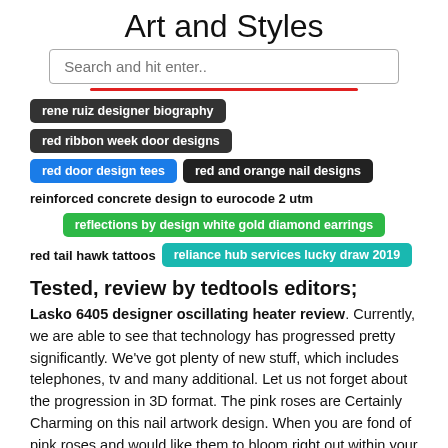Art and Styles
Search and hit enter..
rene ruiz designer biography
red ribbon week door designs
red door design tees
red and orange nail designs
reinforced concrete design to eurocode 2 utm
reflections by design white gold diamond earrings
red tail hawk tattoos
reliance hub services lucky draw 2019
Tested, review by tedtools editors;
Lasko 6405 designer oscillating heater review. Currently, we are able to see that technology has progressed pretty significantly. We've got plenty of new stuff, which includes telephones, tv and many additional. Let us not forget about the progression in 3D format. The pink roses are Certainly Charming on this nail artwork design. When you are fond of pink roses and would like them to bloom right out within your fingernails then This can be the nail artwork vogue to Opt for